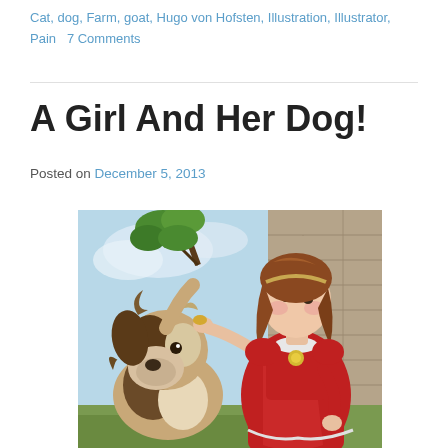Cat, dog, Farm, goat, Hugo von Hofsten, Illustration, Illustrator, Pain   7 Comments
A Girl And Her Dog!
Posted on December 5, 2013
[Figure (illustration): Vintage illustration of a girl in a red dress holding something out to a fluffy dog, with a tree branch and stone wall in the background.]